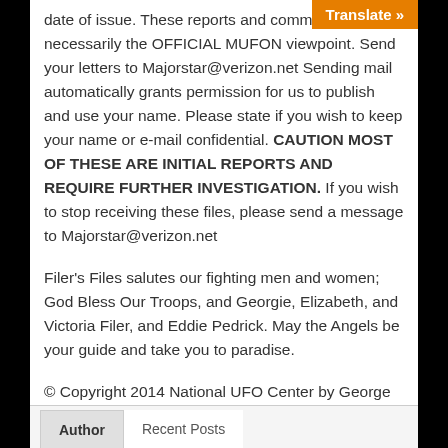date of issue. These reports and comments are not necessarily the OFFICIAL MUFON viewpoint. Send your letters to Majorstar@verizon.net Sending mail automatically grants permission for us to publish and use your name. Please state if you wish to keep your name or e-mail confidential. CAUTION MOST OF THESE ARE INITIAL REPORTS AND REQUIRE FURTHER INVESTIGATION. If you wish to stop receiving these files, please send a message to Majorstar@verizon.net
Filer's Files salutes our fighting men and women; God Bless Our Troops, and Georgie, Elizabeth, and Victoria Filer, and Eddie Pedrick. May the Angels be your guide and take you to paradise.
© Copyright 2014 National UFO Center by George Filer
Author   Recent Posts